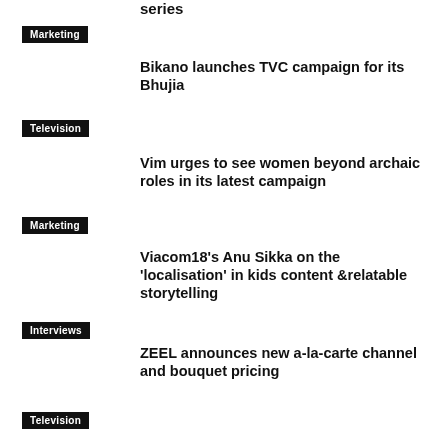series
Marketing
Bikano launches TVC campaign for its Bhujia
Television
Vim urges to see women beyond archaic roles in its latest campaign
Marketing
Viacom18's Anu Sikka on the 'localisation' in kids content &relatable storytelling
Interviews
ZEEL announces new a-la-carte channel and bouquet pricing
Television